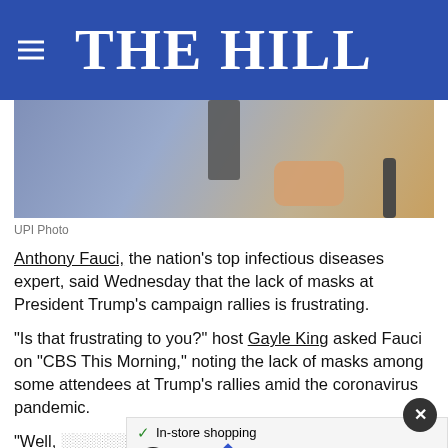THE HILL
[Figure (photo): Close-up photo of a man in a blue suit holding a microphone, partially cropped]
UPI Photo
Anthony Fauci, the nation's top infectious diseases expert, said Wednesday that the lack of masks at President Trump's campaign rallies is frustrating.
“Is that frustrating to you?” host Gayle King asked Fauci on “CBS This Morning,” noting the lack of masks among some attendees at Trump’s rallies amid the coronavirus pandemic.
“Well, [it is] — as a public health official — yes,” Anthony Fauci, who directs the National Institute of Allergy and Infectious Diseases, responded. “That situation is we